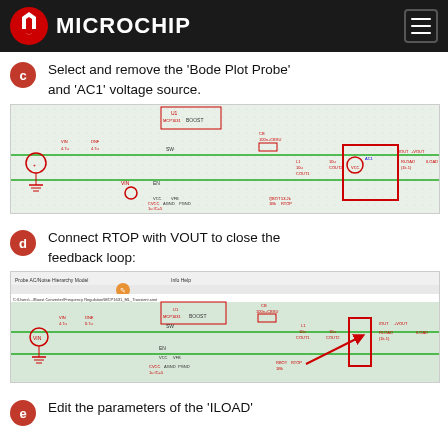Microchip
c  Select and remove the 'Bode Plot Probe' and 'AC1' voltage source.
[Figure (schematic): Electronic circuit schematic showing boost converter with Bode Plot Probe and AC1 voltage source highlighted in a red box on the right side of the circuit.]
d  Connect RTOP with VOUT to close the feedback loop:
[Figure (screenshot): Screenshot of circuit simulation software showing the boost converter schematic with a red arrow indicating the connection from RTOP to VOUT to close the feedback loop. The RTOP resistor area is highlighted with a red box.]
e  Edit the parameters of the 'ILOAD'